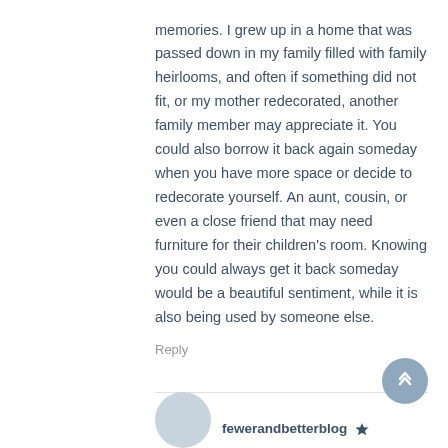memories. I grew up in a home that was passed down in my family filled with family heirlooms, and often if something did not fit, or my mother redecorated, another family member may appreciate it. You could also borrow it back again someday when you have more space or decide to redecorate yourself. An aunt, cousin, or even a close friend that may need furniture for their children's room. Knowing you could always get it back someday would be a beautiful sentiment, while it is also being used by someone else.
Reply
fewerandbetterblog